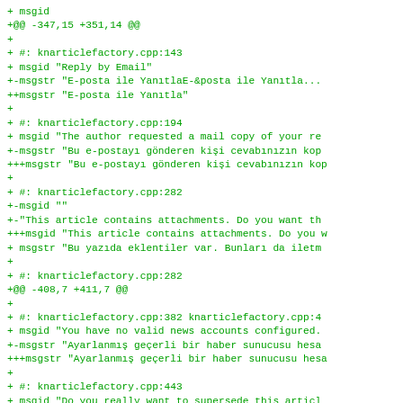+ msgid
+@@ -347,15 +351,14 @@
+
+ #: knarticlefactory.cpp:143
+ msgid "Reply by Email"
+-msgstr "E-posta ile YanıtlaE-&posta ile Yanıtla...
++msgstr "E-posta ile Yanıtla"
+
+ #: knarticlefactory.cpp:194
+ msgid "The author requested a mail copy of your re
+-msgstr "Bu e-postayı gönderen kişi cevabınızın kop
+++msgstr "Bu e-postayı gönderen kişi cevabınızın kop
+
+ #: knarticlefactory.cpp:282
+-msgid ""
+-"This article contains attachments. Do you want th
+++msgid "This article contains attachments. Do you w
+ msgstr "Bu yazıda eklentiler var. Bunları da iletm
+
+ #: knarticlefactory.cpp:282
+@@ -408,7 +411,7 @@
+
+ #: knarticlefactory.cpp:382 knarticlefactory.cpp:4
+ msgid "You have no valid news accounts configured.
+-msgstr "Ayarlanmış geçerli bir haber sunucusu hesa
+++msgstr "Ayarlanmış geçerli bir haber sunucusu hesa
+
+ #: knarticlefactory.cpp:443
+ msgid "Do you really want to supersede this articl
++@@ -483,8 +486,7 @@
+